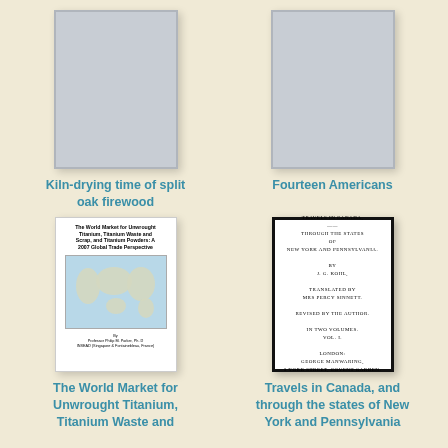[Figure (illustration): Gray placeholder book cover for Kiln-drying time of split oak firewood]
Kiln-drying time of split oak firewood
[Figure (illustration): Gray placeholder book cover for Fourteen Americans]
Fourteen Americans
[Figure (illustration): Book cover: The World Market for Unwrought Titanium, Titanium Waste and Scrap, and Titanium Powders: A 2007 Global Trade Perspective, by Professor Philip M. Parker, with world map image]
The World Market for Unwrought Titanium, Titanium Waste and
[Figure (illustration): Book cover: Travels in Canada, and through the states of New York and Pennsylvania by J.G. Kohl, dark-bordered title page style cover]
Travels in Canada, and through the states of New York and Pennsylvania